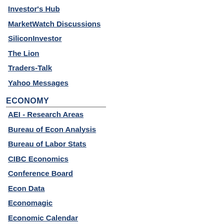Investor's Hub
MarketWatch Discussions
SiliconInvestor
The Lion
Traders-Talk
Yahoo Messages
ECONOMY
AEI - Research Areas
Bureau of Econ Analysis
Bureau of Labor Stats
CIBC Economics
Conference Board
Econ Data
Economagic
Economic Calendar
Economic Charts
Economic Forecasts